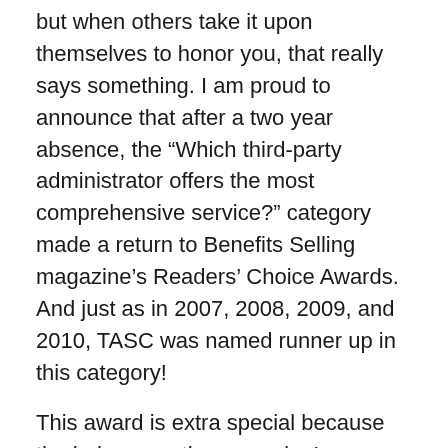but when others take it upon themselves to honor you, that really says something. I am proud to announce that after a two year absence, the “Which third-party administrator offers the most comprehensive service?” category made a return to Benefits Selling magazine’s Readers’ Choice Awards. And just as in 2007, 2008, 2009, and 2010, TASC was named runner up in this category!
This award is extra special because the judges are the magazine’s readership of 55,000+ benefits brokers who sell group and voluntary benefits nationwide. They voted TASC an Honorable Mention award for being the third-party administrator which offers the most comprehensive services. These are the same individuals who market service offerings from TASC and our competition. I think these votes speak volumes about the quality of our